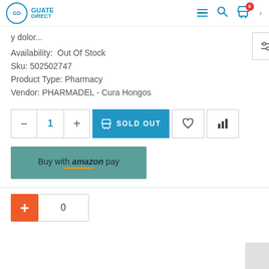GD GUATE DIRECT — navigation bar with logo, hamburger menu, search, cart (0), chevron
y dolor...
Availability:  Out Of Stock
Sku: 502502747
Product Type: Pharmacy
Vendor: PHARMADEL - Cura Hongos
[Figure (screenshot): Product action buttons: quantity selector (minus, 1, plus), SOLD OUT blue button with bag icon, wishlist heart button, compare bar chart button]
[Figure (screenshot): Buy with amazon pay teal button]
[Figure (screenshot): Bottom row: orange plus button and zero quantity input box]